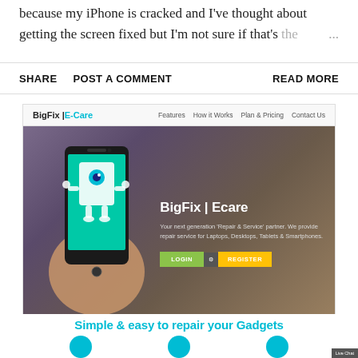because my iPhone is cracked and I've thought about getting the screen fixed but I'm not sure if that's the ...
SHARE   POST A COMMENT   READ MORE
[Figure (screenshot): Screenshot of BigFix | E-Care website showing navigation bar with links to Features, How it Works, Plan & Pricing, Contact Us, and a hero image of a hand holding a smartphone with a cartoon robot character on the screen. Text reads: BigFix | Ecare - Your next generation 'Repair & Service' partner. We provide repair service for Laptops, Desktops, Tablets & Smartphones. LOGIN and REGISTER buttons visible.]
Simple & easy to repair your Gadgets